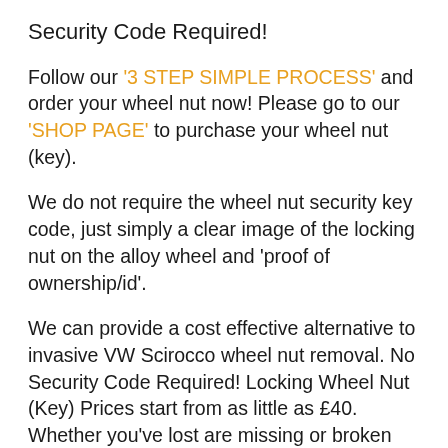Security Code Required!
Follow our '3 STEP SIMPLE PROCESS' and order your wheel nut now! Please go to our 'SHOP PAGE' to purchase your wheel nut (key).
We do not require the wheel nut security key code, just simply a clear image of the locking nut on the alloy wheel and 'proof of ownership/id'.
We can provide a cost effective alternative to invasive VW Scirocco wheel nut removal. No Security Code Required! Locking Wheel Nut (Key) Prices start from as little as £40. Whether you've lost are missing or broken your wheel nut (key). We can supply a